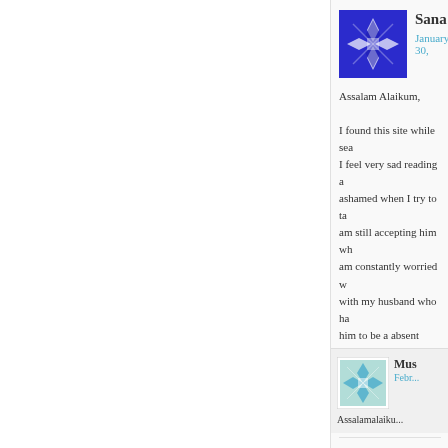[Figure (illustration): Avatar image for user Sana — blue geometric pattern on white background]
Sana
January 30,
Assalam Alaikum,

I found this site while sea... I feel very sad reading a... ashamed when I try to ta... am still accepting him wh... am constantly worried w... with my husband who ha... him to be a absent fathe... marriage and feel if I had... today. I feel all alone and...
Like
Reply
[Figure (illustration): Avatar image for user Mus — teal geometric pattern on white background]
Mus
Febr...
Assalamalaiku...